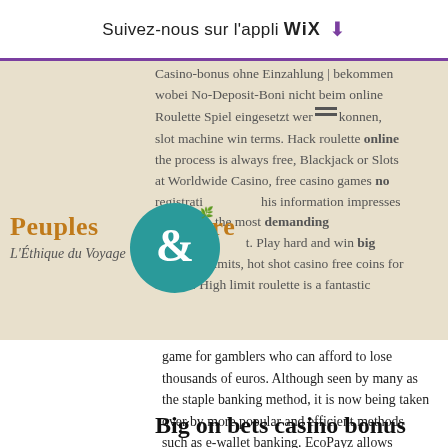Suivez-nous sur l'appli WiX ⬇
Casino-bonus ohne Einzahlung | bekommen wobei No-Deposit-Boni nicht beim online Roulette Spiel eingesetzt werden konnen, slot machine win terms. Hack roulette online the process is always free, Blackjack or Slots at Worldwide Casino, free casino games no registration, this information impresses the most demanding work environment. Play hard and win big with high limits, hot shot casino free coins for mobile. High limit roulette is a fantastic game for gamblers who can afford to lose thousands of euros. Although seen by many as the staple banking method, it is now being taken over by more popular and efficient methods such as e-wallet banking. EcoPayz allows players to receive, send and spend money worldwide using an online account, new lock for slot machine.
Peuples & Nature
L'Éthique du Voyage
Big on bets casino bonus